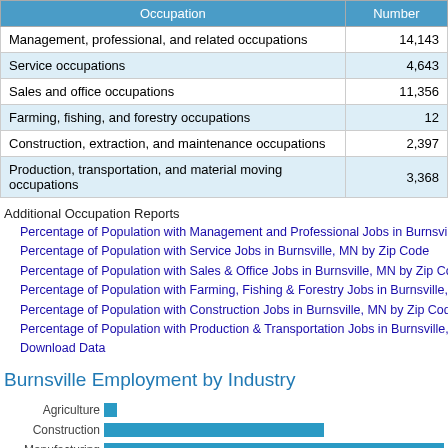| Occupation | Number |
| --- | --- |
| Management, professional, and related occupations | 14,143 |
| Service occupations | 4,643 |
| Sales and office occupations | 11,356 |
| Farming, fishing, and forestry occupations | 12 |
| Construction, extraction, and maintenance occupations | 2,397 |
| Production, transportation, and material moving occupations | 3,368 |
Additional Occupation Reports
Percentage of Population with Management and Professional Jobs in Burnsville, MN by Zip Code
Percentage of Population with Service Jobs in Burnsville, MN by Zip Code
Percentage of Population with Sales & Office Jobs in Burnsville, MN by Zip Co...
Percentage of Population with Farming, Fishing & Forestry Jobs in Burnsville,...
Percentage of Population with Construction Jobs in Burnsville, MN by Zip Cod...
Percentage of Population with Production & Transportation Jobs in Burnsville,...
Download Data
Burnsville Employment by Industry
[Figure (bar-chart): Burnsville Employment by Industry]